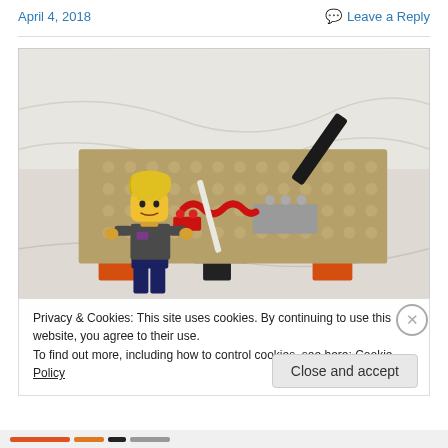April 4, 2018   Leave a Reply
[Figure (photo): A LEGO scene featuring a minifigure with blonde hair holding a white wand/stick, standing next to a large tan/brown flat LEGO plate propped up on orange and gray LEGO bricks, with a red snake/squiggle piece on the plate and a black angled piece on top. The background is a white cloth/sheet.]
Privacy & Cookies: This site uses cookies. By continuing to use this website, you agree to their use.
To find out more, including how to control cookies, see here: Cookie Policy
Close and accept